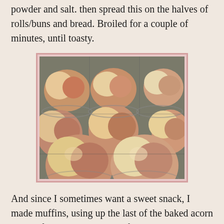powder and salt. then spread this on the halves of rolls/buns and bread. Broiled for a couple of minutes, until toasty.
[Figure (photo): A muffin tin containing baked muffins with golden and pinkish-brown tops, arranged in rows, photographed from above at a slight angle.]
And since I sometimes want a sweet snack, I made muffins, using up the last of the baked acorn squash from lunch and breakfast this week. Quick breads also make good snack material, and are easy to make.
I spent about 1 hour making snacks the other day, and prepared about 2 days of snacking stuff for my family (we're